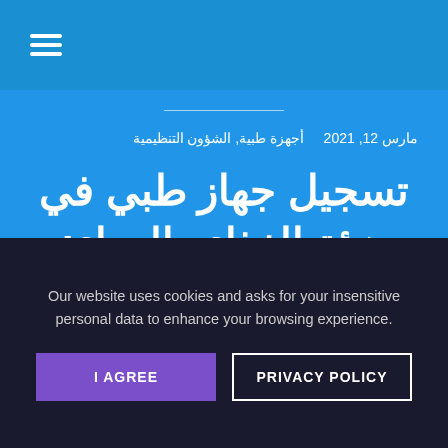☰
مارس 12, 2021   أجهزة طبية, الشؤون التنظيمية
تسجيل جهاز طبي في هيئة الغذاء والدواء: الطريقة والرسوم
Our website uses cookies and asks for your insensitive personal data to enhance your browsing experience.
I AGREE
PRIVACY POLICY